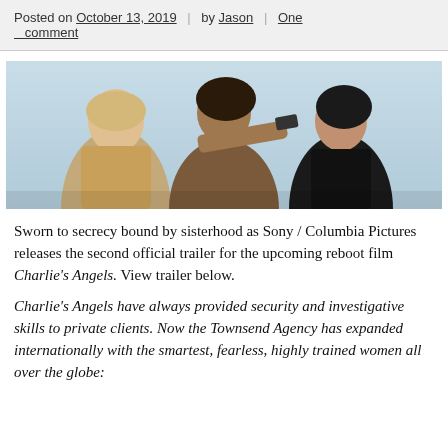Posted on October 13, 2019 | by Jason | One comment
[Figure (photo): Three women posed together outdoors against a light blue sky. The center woman aims a gun forward, flanked by two other women.]
Sworn to secrecy bound by sisterhood as Sony / Columbia Pictures releases the second official trailer for the upcoming reboot film Charlie's Angels. View trailer below.
Charlie's Angels have always provided security and investigative skills to private clients. Now the Townsend Agency has expanded internationally with the smartest, fearless, highly trained women all over the globe: